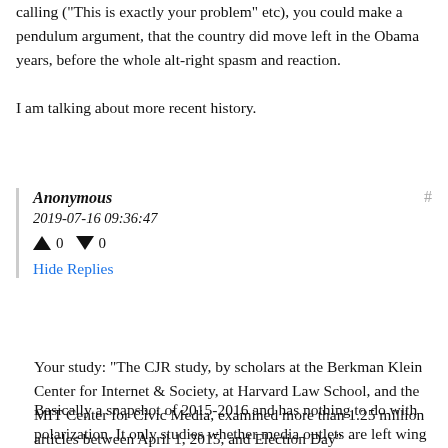calling ("This is exactly your problem" etc), you could make a pendulum argument, that the country did move left in the Obama years, before the whole alt-right spasm and reaction.

I am talking about more recent history.
Anonymous
2019-07-16 09:36:47
▲ 0 ▼ 0
Hide Replies
Your study: "The CJR study, by scholars at the Berkman Klein Center for Internet & Society, at Harvard Law School, and the MIT Center for Civic Media, examined more than 1.25 million articles between April 1, 2015, and Election Day"
Basically a snapshot of 2015-2016 and has nothing to do with polarization. It only studies whether media outlets are left wing or right wing. If you have a study showing